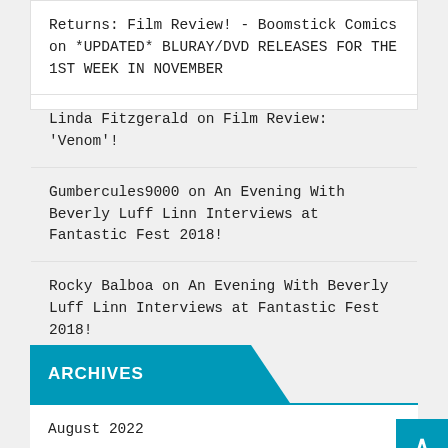Returns: Film Review! - Boomstick Comics on *UPDATED* BLURAY/DVD RELEASES FOR THE 1ST WEEK IN NOVEMBER
Linda Fitzgerald on Film Review: 'Venom'!
Gumbercules9000 on An Evening With Beverly Luff Linn Interviews at Fantastic Fest 2018!
Rocky Balboa on An Evening With Beverly Luff Linn Interviews at Fantastic Fest 2018!
ARCHIVES
August 2022